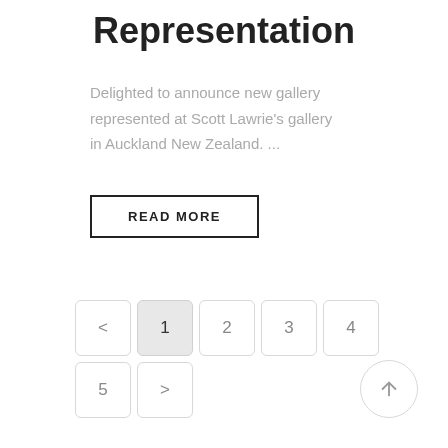Representation
Delighted to announce new gallery represented at Scott Lawrie's gallery in Auckland New Zealand. ...
READ MORE
< 1 2 3 4 5 >